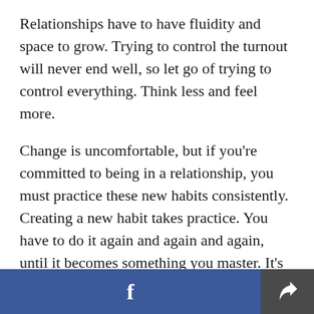Relationships have to have fluidity and space to grow. Trying to control the turnout will never end well, so let go of trying to control everything. Think less and feel more.
Change is uncomfortable, but if you're committed to being in a relationship, you must practice these new habits consistently. Creating a new habit takes practice. You have to do it again and again and again, until it becomes something you master. It's time to master this whole relationship thing.
Ravid Yosef is a Dating & Relationship Coach working with clients virtually around the world. If
f [share icon]